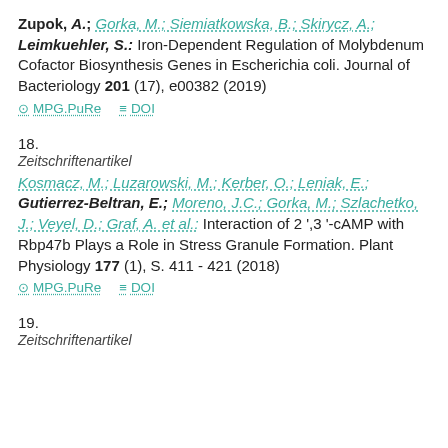Zupok, A.; Gorka, M.; Siemiatkowska, B.; Skirycz, A.; Leimkuehler, S.: Iron-Dependent Regulation of Molybdenum Cofactor Biosynthesis Genes in Escherichia coli. Journal of Bacteriology 201 (17), e00382 (2019)
MPG.PuRe   DOI
18.
Zeitschriftenartikel
Kosmacz, M.; Luzarowski, M.; Kerber, O.; Leniak, E.; Gutierrez-Beltran, E.; Moreno, J.C.; Gorka, M.; Szlachetko, J.; Veyel, D.; Graf, A. et al.: Interaction of 2 ',3 '-cAMP with Rbp47b Plays a Role in Stress Granule Formation. Plant Physiology 177 (1), S. 411 - 421 (2018)
MPG.PuRe   DOI
19.
Zeitschriftenartikel